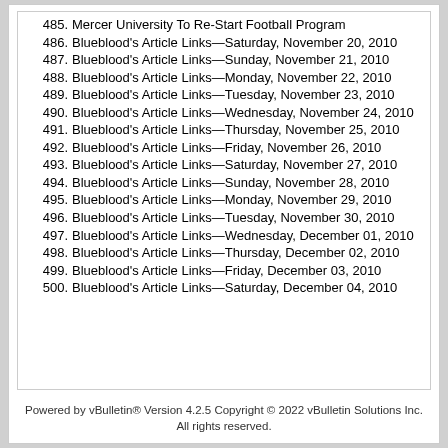485. Mercer University To Re-Start Football Program
486. Blueblood's Article Links—Saturday, November 20, 2010
487. Blueblood's Article Links—Sunday, November 21, 2010
488. Blueblood's Article Links—Monday, November 22, 2010
489. Blueblood's Article Links—Tuesday, November 23, 2010
490. Blueblood's Article Links—Wednesday, November 24, 2010
491. Blueblood's Article Links—Thursday, November 25, 2010
492. Blueblood's Article Links—Friday, November 26, 2010
493. Blueblood's Article Links—Saturday, November 27, 2010
494. Blueblood's Article Links—Sunday, November 28, 2010
495. Blueblood's Article Links—Monday, November 29, 2010
496. Blueblood's Article Links—Tuesday, November 30, 2010
497. Blueblood's Article Links—Wednesday, December 01, 2010
498. Blueblood's Article Links—Thursday, December 02, 2010
499. Blueblood's Article Links—Friday, December 03, 2010
500. Blueblood's Article Links—Saturday, December 04, 2010
Powered by vBulletin® Version 4.2.5 Copyright © 2022 vBulletin Solutions Inc. All rights reserved.